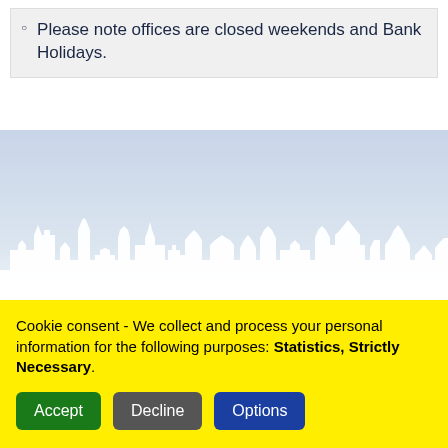Please note offices are closed weekends and Bank Holidays.
[Figure (illustration): City skyline silhouette in white against a light blue-to-white gradient background, depicting various buildings including a church spire, tower, and other urban structures.]
Cookie consent - We collect and process your personal information for the following purposes: Statistics, Strictly Necessary.